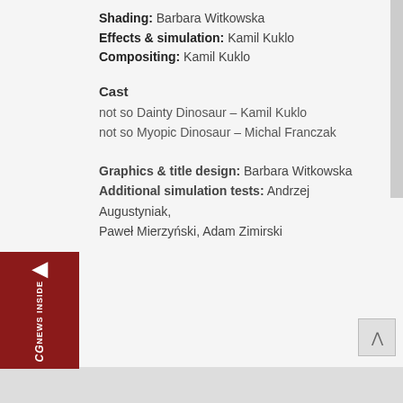Shading: Barbara Witkowska
Effects & simulation: Kamil Kuklo
Compositing: Kamil Kuklo
Cast
not so Dainty Dinosaur – Kamil Kuklo
not so Myopic Dinosaur – Michal Franczak
Graphics & title design: Barbara Witkowska
Additional simulation tests: Andrzej Augustyniak, Paweł Mierzyński, Adam Zimirski
[Figure (logo): CGnews Inside dark red badge with arrow and vertical text]